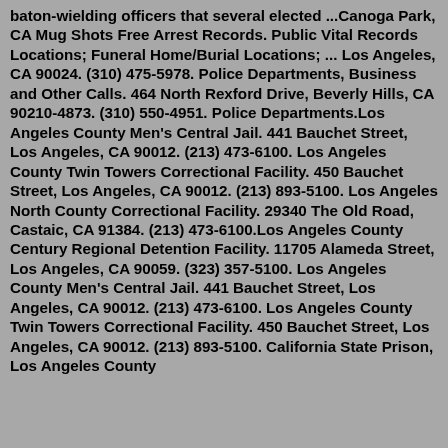baton-wielding officers that several elected ...Canoga Park, CA Mug Shots Free Arrest Records. Public Vital Records Locations; Funeral Home/Burial Locations; ... Los Angeles, CA 90024. (310) 475-5978. Police Departments, Business and Other Calls. 464 North Rexford Drive, Beverly Hills, CA 90210-4873. (310) 550-4951. Police Departments.Los Angeles County Men's Central Jail. 441 Bauchet Street, Los Angeles, CA 90012. (213) 473-6100. Los Angeles County Twin Towers Correctional Facility. 450 Bauchet Street, Los Angeles, CA 90012. (213) 893-5100. Los Angeles North County Correctional Facility. 29340 The Old Road, Castaic, CA 91384. (213) 473-6100.Los Angeles County Century Regional Detention Facility. 11705 Alameda Street, Los Angeles, CA 90059. (323) 357-5100. Los Angeles County Men's Central Jail. 441 Bauchet Street, Los Angeles, CA 90012. (213) 473-6100. Los Angeles County Twin Towers Correctional Facility. 450 Bauchet Street, Los Angeles, CA 90012. (213) 893-5100. California State Prison, Los Angeles County